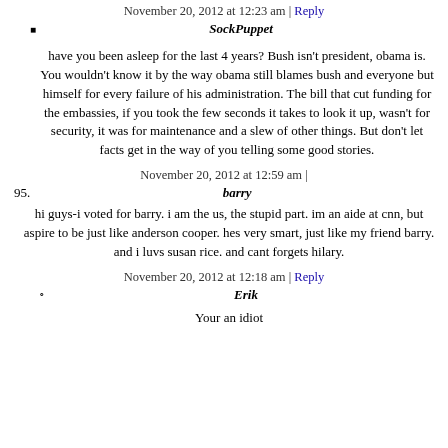November 20, 2012 at 12:23 am | Reply
SockPuppet
have you been asleep for the last 4 years? Bush isn't president, obama is. You wouldn't know it by the way obama still blames bush and everyone but himself for every failure of his administration. The bill that cut funding for the embassies, if you took the few seconds it takes to look it up, wasn't for security, it was for maintenance and a slew of other things. But don't let facts get in the way of you telling some good stories.
November 20, 2012 at 12:59 am |
95. barry
hi guys-i voted for barry. i am the us, the stupid part. im an aide at cnn, but aspire to be just like anderson cooper. hes very smart, just like my friend barry. and i luvs susan rice. and cant forgets hilary.
November 20, 2012 at 12:18 am | Reply
Erik
Your an idiot